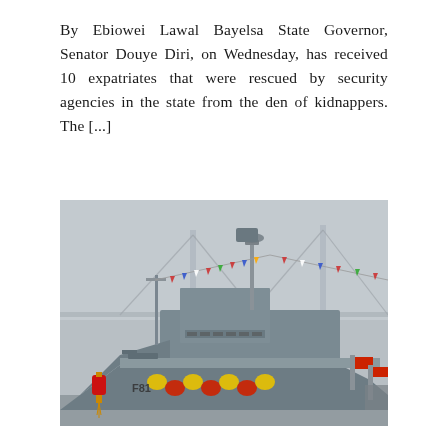By Ebiowei Lawal Bayelsa State Governor, Senator Douye Diri, on Wednesday, has received 10 expatriates that were rescued by security agencies in the state from the den of kidnappers. The [...]
[Figure (photo): A naval warship decorated with colorful bunting flags and festive yellow-red-green garlands along its hull, docked at a waterway with a suspension bridge visible in the misty background. A red lantern hangs from the bow. The hull number F81 is visible on the bow.]